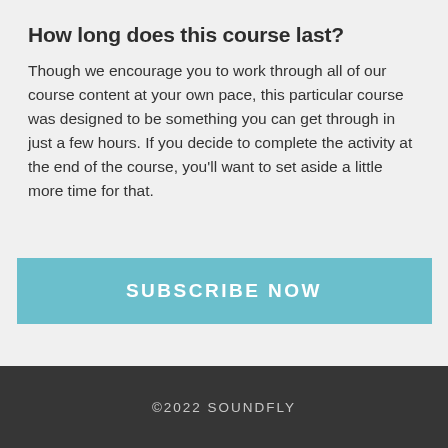How long does this course last?
Though we encourage you to work through all of our course content at your own pace, this particular course was designed to be something you can get through in just a few hours. If you decide to complete the activity at the end of the course, you'll want to set aside a little more time for that.
[Figure (other): SUBSCRIBE NOW button in teal/light blue color]
©2022 SOUNDFLY